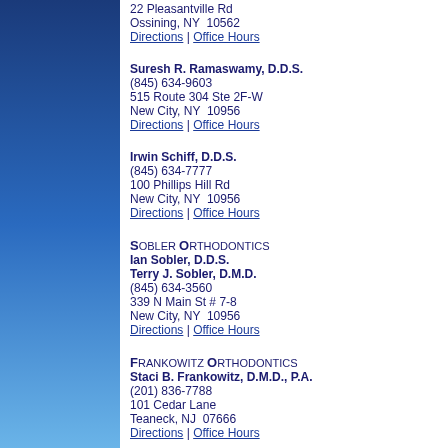[Figure (other): Blue gradient sidebar panel on left side of page]
22 Pleasantville Rd
Ossining, NY  10562
Directions | Office Hours
Suresh R. Ramaswamy, D.D.S.
(845) 634-9603
515 Route 304 Ste 2F-W
New City, NY  10956
Directions | Office Hours
Irwin Schiff, D.D.S.
(845) 634-7777
100 Phillips Hill Rd
New City, NY  10956
Directions | Office Hours
Sobler Orthodontics
Ian Sobler, D.D.S.
Terry J. Sobler, D.M.D.
(845) 634-3560
339 N Main St # 7-8
New City, NY  10956
Directions | Office Hours
Frankowitz Orthodontics
Staci B. Frankowitz, D.M.D., P.A.
(201) 836-7788
101 Cedar Lane
Teaneck, NJ  07666
Directions | Office Hours